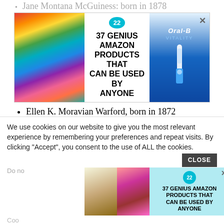Jane Montana McGuiness: born in 1878
[Figure (infographic): Advertisement banner showing colorful scrunchies on left, '22 / 37 GENIUS AMAZON PRODUCTS THAT CAN BE USED BY ANYONE' text in center, Oral-B Vitality toothbrush on right, with X close button]
Ellen K. Moravian Warford, born in 1872
Thomas Moravian McElraith, born in 1881
Morna:
Morna Francis, born in 1887
We use cookies on our website to give you the most relevant experience by remembering your preferences and repeat visits. By clicking “Accept”, you consent to the use of ALL the cookies.
CLOSE
Do no
Coo
[Figure (infographic): Advertisement banner with light blue background showing cookies/biscuits on left, cosmetics in center-left, '22 / 37 GENIUS AMAZON PRODUCTS THAT CAN BE USED BY ANYONE' text on right, with X close button]